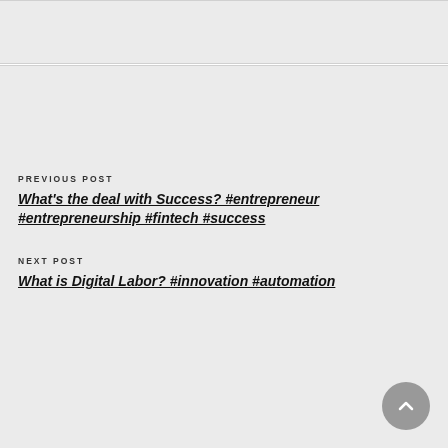PREVIOUS POST
What's the deal with Success? #entrepreneur #entrepreneurship #fintech #success
NEXT POST
What is Digital Labor? #innovation #automation